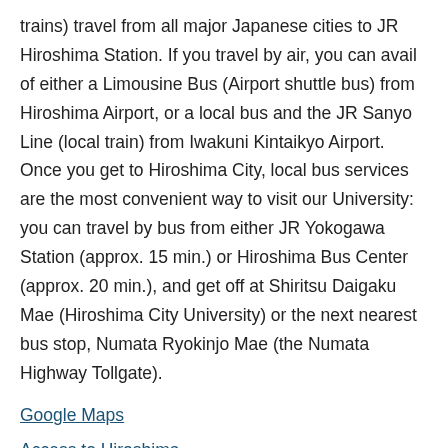trains) travel from all major Japanese cities to JR Hiroshima Station. If you travel by air, you can avail of either a Limousine Bus (Airport shuttle bus) from Hiroshima Airport, or a local bus and the JR Sanyo Line (local train) from Iwakuni Kintaikyo Airport. Once you get to Hiroshima City, local bus services are the most convenient way to visit our University: you can travel by bus from either JR Yokogawa Station (approx. 15 min.) or Hiroshima Bus Center (approx. 20 min.), and get off at Shiritsu Daigaku Mae (Hiroshima City University) or the next nearest bus stop, Numata Ryokinjo Mae (the Numata Highway Tollgate).
Google Maps
Access to Hiroshima
(Hiroshima Convention & Visitors Bureau)
From Hiroshima Airport: